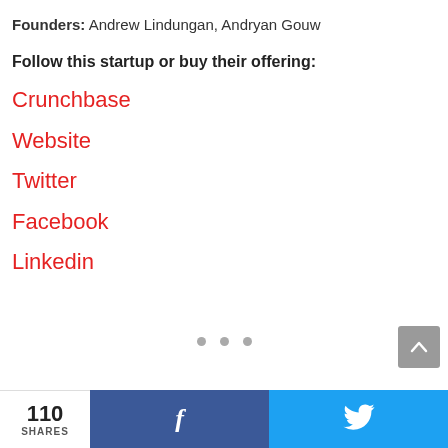Founders: Andrew Lindungan, Andryan Gouw
Follow this startup or buy their offering:
Crunchbase
Website
Twitter
Facebook
Linkedin
110 SHARES  [Facebook share button]  [Twitter share button]